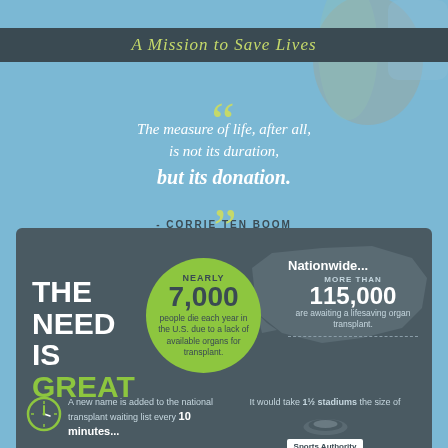A Mission to Save Lives
"The measure of life, after all, is not its duration, but its donation." - CORRIE TEN BOOM
THE NEED IS GREAT
NEARLY 7,000 people die each year in the U.S. due to a lack of available organs for transplant.
Nationwide... MORE THAN 115,000 are awaiting a lifesaving organ transplant.
A new name is added to the national transplant waiting list every 10 minutes...
It would take 1½ stadiums the size of Sports Authority Field at Mile High to seat them all